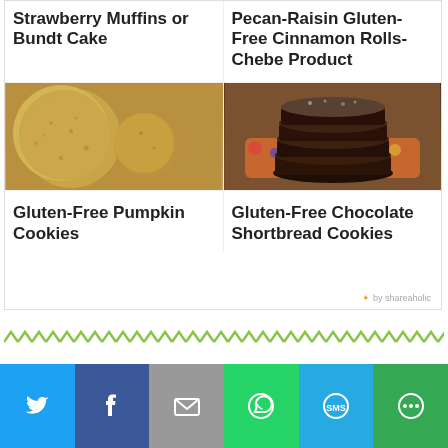Strawberry Muffins or Bundt Cake
Pecan-Raisin Gluten-Free Cinnamon Rolls-Chebe Product
[Figure (photo): Close-up photo of golden/tan pumpkin cookies, round and flat]
[Figure (photo): Stack of dark chocolate shortbread cookies on a colorful plate]
Gluten-Free Pumpkin Cookies
Gluten-Free Chocolate Shortbread Cookies
✦ by shareaholic
[Figure (infographic): Decorative zigzag/chevron green pattern divider bar]
[Figure (infographic): Social share bar with Twitter, Facebook, Email, WhatsApp, SMS, More buttons]